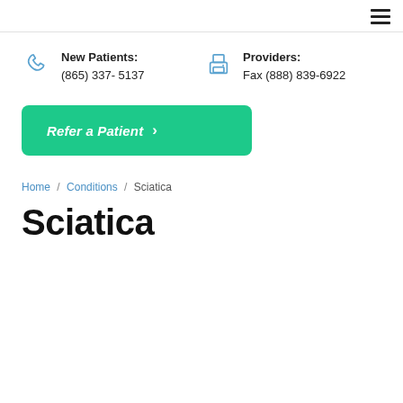☰
New Patients:
(865) 337- 5137
Providers:
Fax (888) 839-6922
Refer a Patient
Home / Conditions / Sciatica
Sciatica